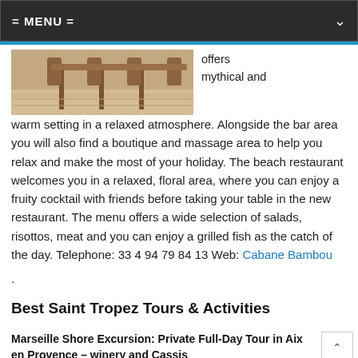= MENU =
[Figure (photo): Beach restaurant scene with wooden chairs and tables on sandy floor]
offers mythical and warm setting in a relaxed atmosphere. Alongside the bar area you will also find a boutique and massage area to help you relax and make the most of your holiday. The beach restaurant welcomes you in a relaxed, floral area, where you can enjoy a fruity cocktail with friends before taking your table in the new restaurant. The menu offers a wide selection of salads, risottos, meat and you can enjoy a grilled fish as the catch of the day. Telephone: 33 4 94 79 84 13 Web: Cabane Bambou
.
Best Saint Tropez Tours & Activities
Marseille Shore Excursion: Private Full-Day Tour in Aix en Provence – winery and Cassis